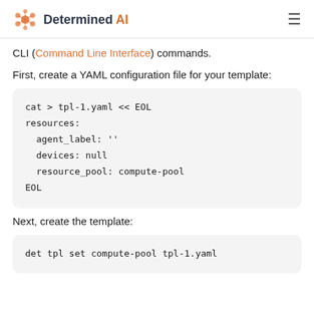Determined AI
CLI (Command Line Interface) commands.
First, create a YAML configuration file for your template:
Next, create the template: